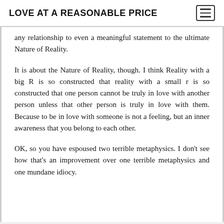LOVE AT A REASONABLE PRICE
any relationship to even a meaningful statement to the ultimate Nature of Reality.
It is about the Nature of Reality, though. I think Reality with a big R is so constructed that reality with a small r is so constructed that one person cannot be truly in love with another person unless that other person is truly in love with them. Because to be in love with someone is not a feeling, but an inner awareness that you belong to each other.
OK, so you have espoused two terrible metaphysics. I don't see how that's an improvement over one terrible metaphysics and one mundane idiocy.